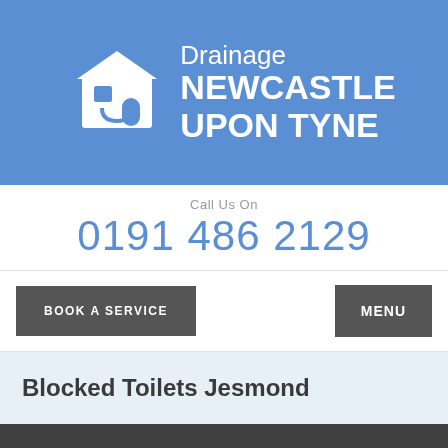[Figure (logo): Drainage Newcastle Upon Tyne logo with house icon]
Call Us On
0191 486 2129
BOOK A SERVICE
MENU
Blocked Toilets Jesmond
0191 486 2129
Click on the Button to Contact Us